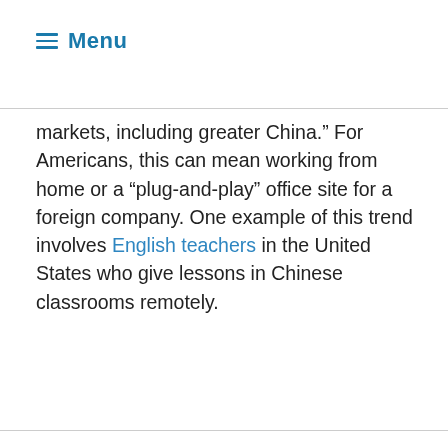≡ Menu
markets, including greater China.” For Americans, this can mean working from home or a “plug-and-play” office site for a foreign company. One example of this trend involves English teachers in the United States who give lessons in Chinese classrooms remotely.